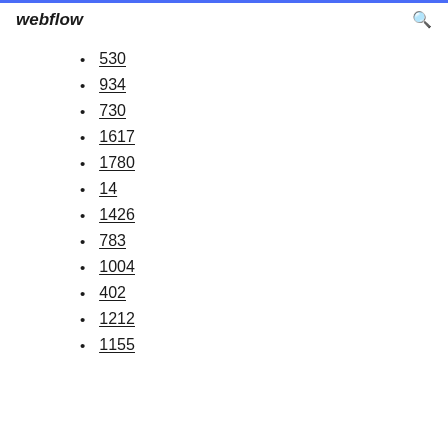webflow
530
934
730
1617
1780
14
1426
783
1004
402
1212
1155